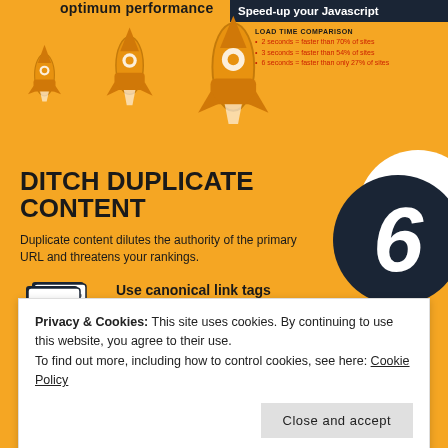[Figure (infographic): Orange infographic background with three rockets illustrating 'optimum performance' and 'Speed-up your Javascript'. Load time comparison bullet list in dark red: 2 seconds = faster than 70% of sites, 3 seconds = faster than 54% of sites, 6 seconds = faster than only 27% of sites.]
DITCH DUPLICATE CONTENT
Duplicate content dilutes the authority of the primary URL and threatens your rankings.
Use canonical link tags
Use the canonical tag to let Google know
Privacy & Cookies: This site uses cookies. By continuing to use this website, you agree to their use.
To find out more, including how to control cookies, see here: Cookie Policy
REMOVE LOW VALUE PAGES
Ensure each Google-indexed page contains original, rich content—with relevant keywords.